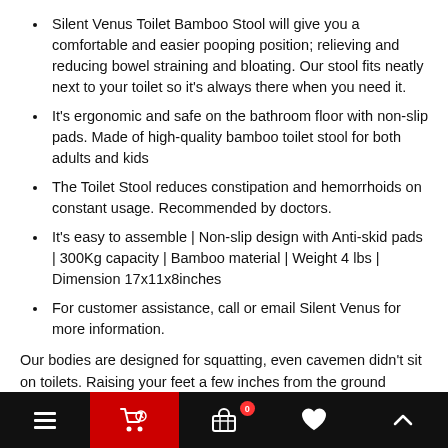Silent Venus Toilet Bamboo Stool will give you a comfortable and easier pooping position; relieving and reducing bowel straining and bloating. Our stool fits neatly next to your toilet so it's always there when you need it.
It's ergonomic and safe on the bathroom floor with non-slip pads. Made of high-quality bamboo toilet stool for both adults and kids
The Toilet Stool reduces constipation and hemorrhoids on constant usage. Recommended by doctors.
It's easy to assemble | Non-slip design with Anti-skid pads | 300Kg capacity | Bamboo material | Weight 4 lbs | Dimension 17x11x8inches
For customer assistance, call or email Silent Venus for more information.
Our bodies are designed for squatting, even cavemen didn't sit on toilets. Raising your feet a few inches from the ground